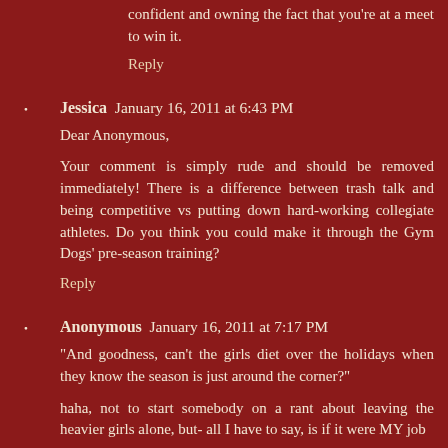confident and owning the fact that you're at a meet to win it.
Reply
Jessica  January 16, 2011 at 6:43 PM
Dear Anonymous,

Your comment is simply rude and should be removed immediately! There is a difference between trash talk and being competitive vs putting down hard-working collegiate athletes. Do you think you could make it through the Gym Dogs' pre-season training?
Reply
Anonymous  January 16, 2011 at 7:17 PM
"And goodness, can't the girls diet over the holidays when they know the season is just around the corner?"
haha, not to start somebody on a rant about leaving the heavier girls alone, but- all I have to say, is if it were MY job